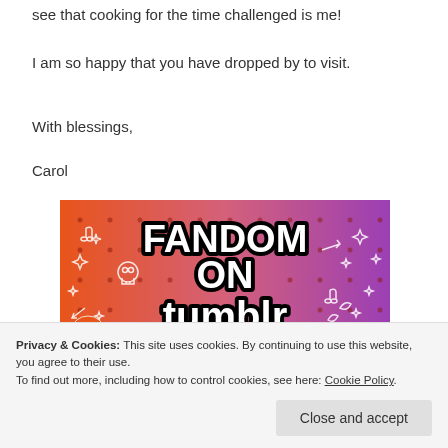see that cooking for the time challenged is me!
I am so happy that you have dropped by to visit.
With blessings,
Carol
[Figure (illustration): Fandom on Tumblr promotional banner with orange to purple gradient background, white doodle icons, large bold black text reading FANDOM ON and tumblr in white bold text]
Privacy & Cookies: This site uses cookies. By continuing to use this website, you agree to their use.
To find out more, including how to control cookies, see here: Cookie Policy